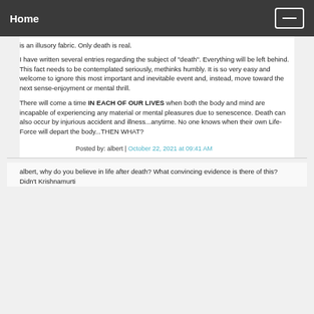Home
is an illusory fabric. Only death is real.
I have written several entries regarding the subject of "death". Everything will be left behind. This fact needs to be contemplated seriously, methinks humbly. It is so very easy and welcome to ignore this most important and inevitable event and, instead, move toward the next sense-enjoyment or mental thrill.
There will come a time IN EACH OF OUR LIVES when both the body and mind are incapable of experiencing any material or mental pleasures due to senescence. Death can also occur by injurious accident and illness...anytime. No one knows when their own Life-Force will depart the body...THEN WHAT?
Posted by: albert | October 22, 2021 at 09:41 AM
albert, why do you believe in life after death? What convincing evidence is there of this? Didn't Krishnamurti